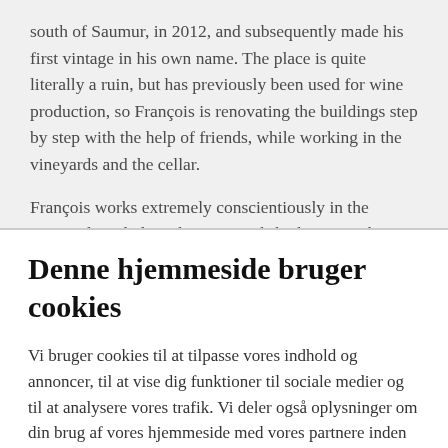south of Saumur, in 2012, and subsequently made his first vintage in his own name. The place is quite literally a ruin, but has previously been used for wine production, so François is renovating the buildings step by step with the help of friends, while working in the vineyards and the cellar.
François works extremely conscientiously in the vineyards and plows his vineyards by horse. In the cellar, he still uses the basket press that is more than a
Denne hjemmeside bruger cookies
Vi bruger cookies til at tilpasse vores indhold og annoncer, til at vise dig funktioner til sociale medier og til at analysere vores trafik. Vi deler også oplysninger om din brug af vores hjemmeside med vores partnere inden for sociale medier, annonceringspartnere og analysepartnere. Vores